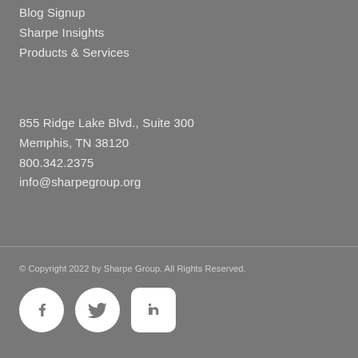Blog Signup
Sharpe Insights
Products & Services
855 Ridge Lake Blvd., Suite 300
Memphis, TN 38120
800.342.2375
info@sharpegroup.org
© Copyright 2022 by Sharpe Group. All Rights Reserved.
[Figure (logo): Social media icons: Facebook (circle), Twitter (circle), LinkedIn (rounded rectangle)]